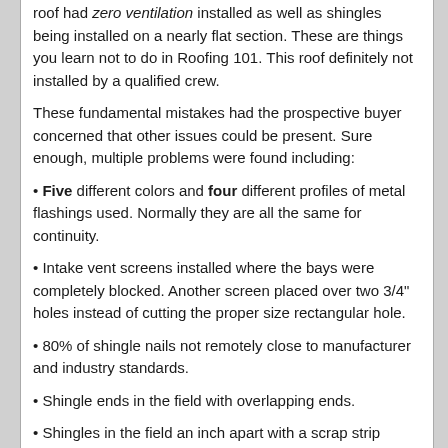roof had zero ventilation installed as well as shingles being installed on a nearly flat section. These are things you learn not to do in Roofing 101. This roof definitely not installed by a qualified crew.
These fundamental mistakes had the prospective buyer concerned that other issues could be present. Sure enough, multiple problems were found including:
• Five different colors and four different profiles of metal flashings used. Normally they are all the same for continuity.
• Intake vent screens installed where the bays were completely blocked. Another screen placed over two 3/4" holes instead of cutting the proper size rectangular hole.
• 80% of shingle nails not remotely close to manufacturer and industry standards.
• Shingle ends in the field with overlapping ends.
• Shingles in the field an inch apart with a scrap strip placed